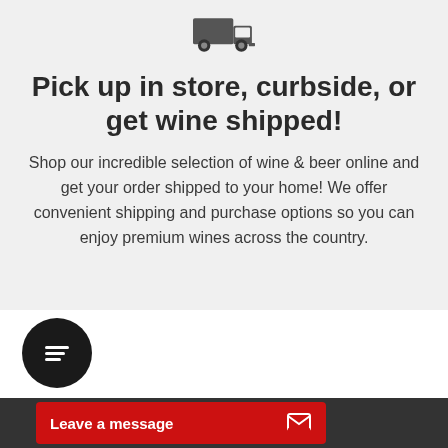[Figure (illustration): Dark grey delivery truck icon facing right, top-cropped]
Pick up in store, curbside, or get wine shipped!
Shop our incredible selection of wine & beer online and get your order shipped to your home! We offer convenient shipping and purchase options so you can enjoy premium wines across the country.
[Figure (illustration): Black circular chat bubble icon with text lines inside]
Leave a message